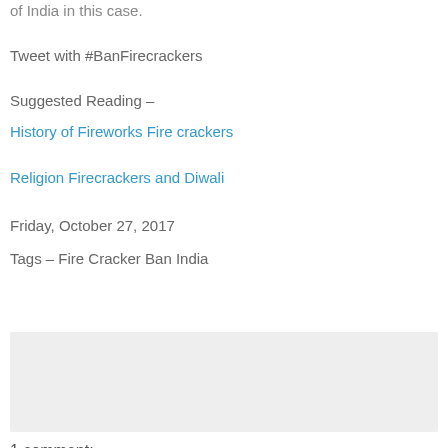of India in this case.
Tweet with #BanFirecrackers
Suggested Reading –
History of Fireworks Fire crackers
Religion Firecrackers and Diwali
Friday, October 27, 2017
Tags – Fire Cracker Ban India
[Figure (other): Gray shaded box area, likely an advertisement or embedded content placeholder]
1 comment: